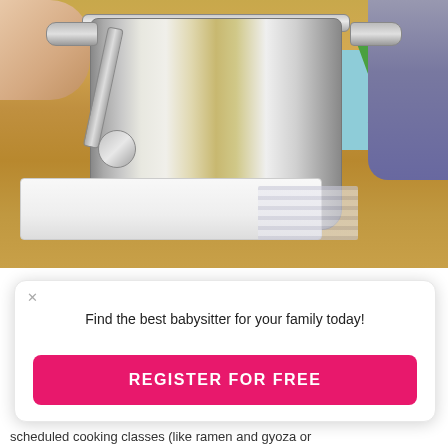[Figure (photo): A shiny stainless steel stock pot sitting on a wooden countertop on a dish towel, with a ladle hanging on its side. A person's arm is visible on the left holding the pot handle. In the background on the right, there is a blue cutting board with celery, a red potato, and a carrot.]
Find the best babysitter for your family today!
REGISTER FOR FREE
scheduled cooking classes (like ramen and gyoza or